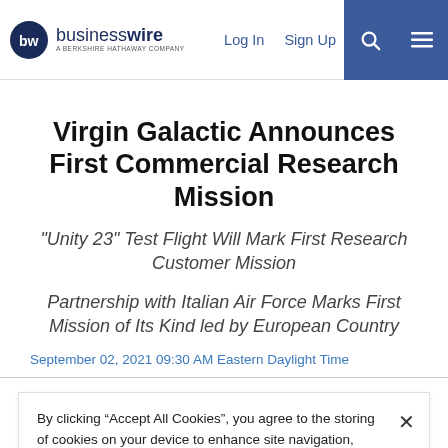businesswire — A Berkshire Hathaway Company | Log In | Sign Up
Virgin Galactic Announces First Commercial Research Mission
“Unity 23” Test Flight Will Mark First Research Customer Mission
Partnership with Italian Air Force Marks First Mission of Its Kind led by European Country
September 02, 2021 09:30 AM Eastern Daylight Time
By clicking “Accept All Cookies”, you agree to the storing of cookies on your device to enhance site navigation, analyze site usage, and assist in our marketing efforts.  Cookie Policy